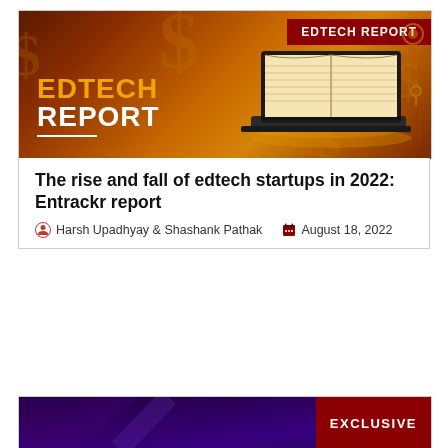[Figure (illustration): EdTech Report banner with dark brown/amber gradient background, large laptop with open book on screen, dollar signs in background, 'EDTECH REPORT' label in dark red top right, 'EDTECH REPORT' title in gold and white on the left]
The rise and fall of edtech startups in 2022: Entrackr report
Harsh Upadhyay & Shashank Pathak   August 18, 2022
[Figure (photo): Dark purple/blue toned background image with 'EXCLUSIVE' label in dark red on the right]